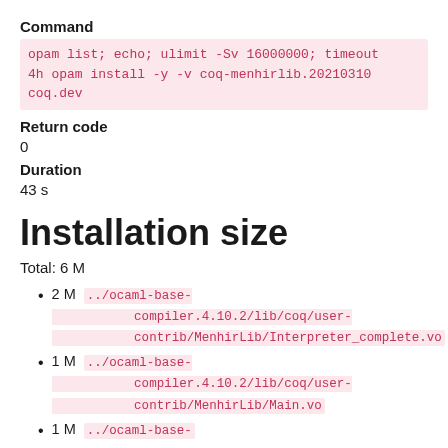Command
opam list; echo; ulimit -Sv 16000000; timeout 4h opam install -y -v coq-menhirlib.20210310 coq.dev
Return code
0
Duration
43 s
Installation size
Total: 6 M
2 M  ../ocaml-base-compiler.4.10.2/lib/coq/user-contrib/MenhirLib/Interpreter_complete.vo
1 M  ../ocaml-base-compiler.4.10.2/lib/coq/user-contrib/MenhirLib/Main.vo
1 M  ../ocaml-base-